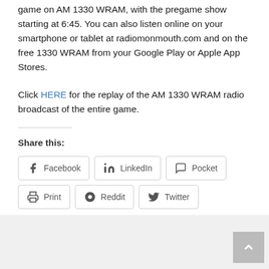game on AM 1330 WRAM, with the pregame show starting at 6:45. You can also listen online on your smartphone or tablet at radiomonmouth.com and on the free 1330 WRAM from your Google Play or Apple App Stores.
Click HERE for the replay of the AM 1330 WRAM radio broadcast of the entire game.
Share this:
Facebook LinkedIn Pocket Print Reddit Twitter